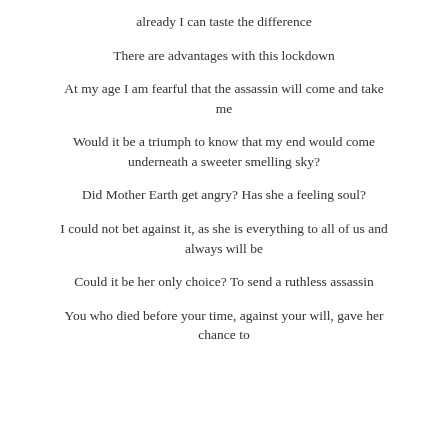already I can taste the difference
There are advantages with this lockdown
At my age I am fearful that the assassin will come and take me
Would it be a triumph to know that my end would come underneath a sweeter smelling sky?
Did Mother Earth get angry? Has she a feeling soul?
I could not bet against it, as she is everything to all of us and always will be
Could it be her only choice? To send a ruthless assassin
You who died before your time, against your will, gave her chance to